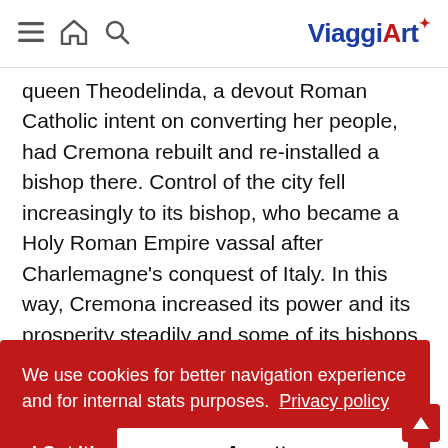[Navigation bar with hamburger menu, home icon, search icon, and ViaggiArt logo]
queen Theodelinda, a devout Roman Catholic intent on converting her people, had Cremona rebuilt and re-installed a bishop there. Control of the city fell increasingly to its bishop, who became a Holy Roman Empire vassal after Charlemagne's conquest of Italy. In this way, Cremona increased its power and its prosperity steadily and some of its bishops
We use cookies for better navigation experience and for internal stats purposes. Privacy policy
I Got it!   Accetto
privileges for his city from emperor Otto III. Its